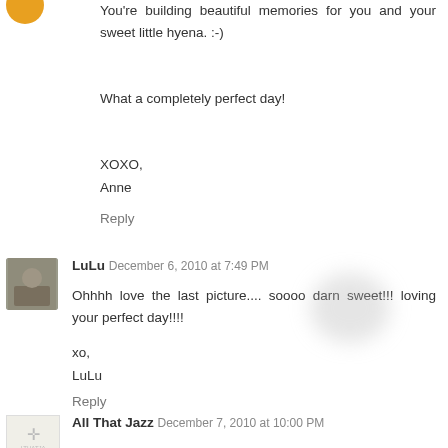You're building beautiful memories for you and your sweet little hyena. :-)
What a completely perfect day!
XOXO,
Anne
Reply
LuLu  December 6, 2010 at 7:49 PM
Ohhhh love the last picture.... soooo darn sweet!!! loving your perfect day!!!!
xo,
LuLu
Reply
All That Jazz  December 7, 2010 at 10:00 PM
Oh, what a fun day!! Your tree is lovely, can't wait to see it all dressed up! I bet your holiday card will turn out fabulous!